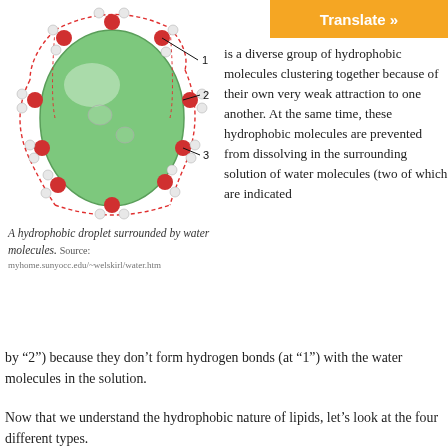[Figure (illustration): A hydrophobic droplet (green ellipsoid) surrounded by water molecules (red and white spheres connected by lines). Numbers 1, 2, and 3 label different parts of the diagram. Dashed red lines form a cage-like structure around the droplet.]
A hydrophobic droplet surrounded by water molecules. Source: myhome.sunyocc.edu/~welskirl/water.htm
is a diverse group of hydrophobic molecules clustering together because of their own very weak attraction to one another. At the same time, these hydrophobic molecules are prevented from dissolving in the surrounding solution of water molecules (two of which are indicated by “2”) because they don’t form hydrogen bonds (at “1”) with the water molecules in the solution.
Now that we understand the hydrophobic nature of lipids, let’s look at the four different types.